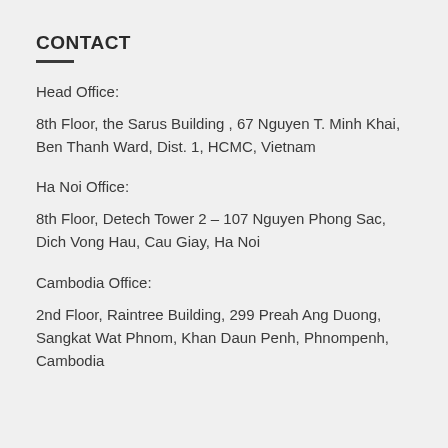CONTACT
Head Office:
8th Floor, the Sarus Building , 67 Nguyen T. Minh Khai, Ben Thanh Ward, Dist. 1, HCMC, Vietnam
Ha Noi Office:
8th Floor, Detech Tower 2 – 107 Nguyen Phong Sac, Dich Vong Hau, Cau Giay, Ha Noi
Cambodia Office:
2nd Floor, Raintree Building, 299 Preah Ang Duong, Sangkat Wat Phnom, Khan Daun Penh, Phnompenh, Cambodia